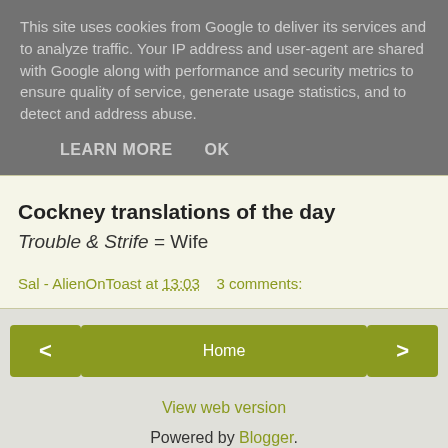This site uses cookies from Google to deliver its services and to analyze traffic. Your IP address and user-agent are shared with Google along with performance and security metrics to ensure quality of service, generate usage statistics, and to detect and address abuse.
LEARN MORE   OK
Cockney translations of the day
Trouble & Strife = Wife
Sal - AlienOnToast at 13:03   3 comments:
< Home >
View web version
Powered by Blogger.